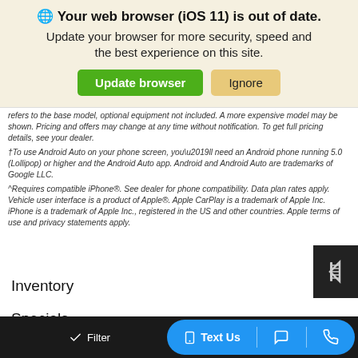Your web browser (iOS 11) is out of date. Update your browser for more security, speed and the best experience on this site.
refers to the base model, optional equipment not included. A more expensive model may be shown. Pricing and offers may change at any time without notification. To get full pricing details, see your dealer.
†To use Android Auto on your phone screen, you\u2019ll need an Android phone running 5.0 (Lollipop) or higher and the Android Auto app. Android and Android Auto are trademarks of Google LLC.
^Requires compatible iPhone®. See dealer for phone compatibility. Data plan rates apply. Vehicle user interface is a product of Apple®. Apple CarPlay is a trademark of Apple Inc. iPhone is a trademark of Apple Inc., registered in the US and other countries. Apple terms of use and privacy statements apply.
Inventory
Specials
Filter  Saved  Text Us